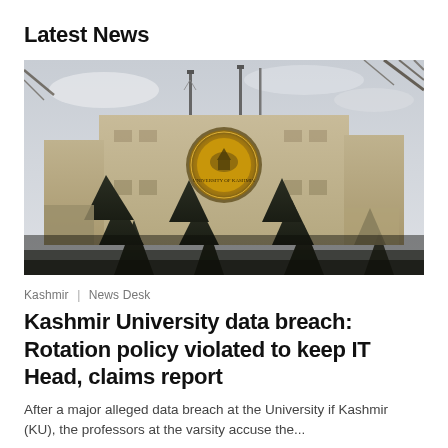Latest News
[Figure (photo): Photograph of the University of Kashmir building exterior with radio towers on top, a circular university emblem/logo on the building face, and dark pine trees in the foreground against an overcast sky]
Kashmir | News Desk
Kashmir University data breach: Rotation policy violated to keep IT Head, claims report
After a major alleged data breach at the University if Kashmir (KU), the professors at the varsity accuse the...